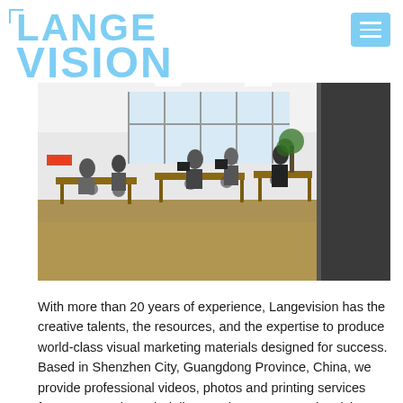LANGE VISION
[Figure (photo): Office workspace with people sitting at desks, large windows in the background, open plan office environment with wooden desks and office chairs]
With more than 20 years of experience, Langevision has the creative talents, the resources, and the expertise to produce world-class visual marketing materials designed for success. Based in Shenzhen City, Guangdong Province, China, we provide professional videos, photos and printing services from concept through delivery. Whatever your advertising needs are, we bring your rough ideas to successful